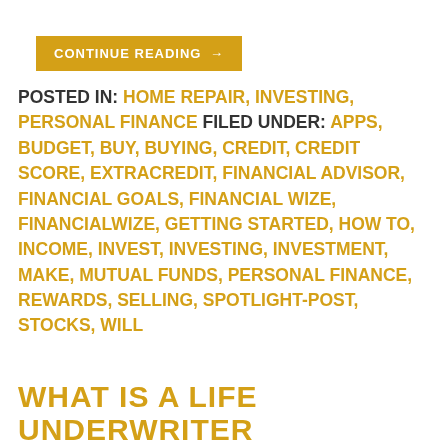[Figure (other): Gold/yellow button labeled CONTINUE READING →]
POSTED IN: HOME REPAIR, INVESTING, PERSONAL FINANCE FILED UNDER: APPS, BUDGET, BUY, BUYING, CREDIT, CREDIT SCORE, EXTRACREDIT, FINANCIAL ADVISOR, FINANCIAL GOALS, FINANCIAL WIZE, FINANCIALWIZE, GETTING STARTED, HOW TO, INCOME, INVEST, INVESTING, INVESTMENT, MAKE, MUTUAL FUNDS, PERSONAL FINANCE, REWARDS, SELLING, SPOTLIGHT-POST, STOCKS, WILL
WHAT IS A LIFE UNDERWRITER